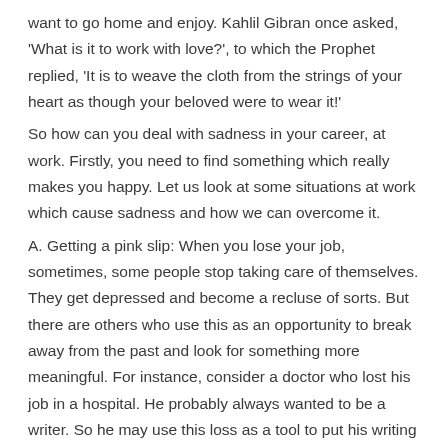want to go home and enjoy. Kahlil Gibran once asked, 'What is it to work with love?', to which the Prophet replied, 'It is to weave the cloth from the strings of your heart as though your beloved were to wear it!'
So how can you deal with sadness in your career, at work. Firstly, you need to find something which really makes you happy. Let us look at some situations at work which cause sadness and how we can overcome it.
A. Getting a pink slip: When you lose your job, sometimes, some people stop taking care of themselves. They get depressed and become a recluse of sorts. But there are others who use this as an opportunity to break away from the past and look for something more meaningful. For instance, consider a doctor who lost his job in a hospital. He probably always wanted to be a writer. So he may use this loss as a tool to put his writing skills to good use.
One should always use such situations to meet new people, open up to life and not look at it as an obstacle. If you want to be happy, look at every event in your life as an opportunity